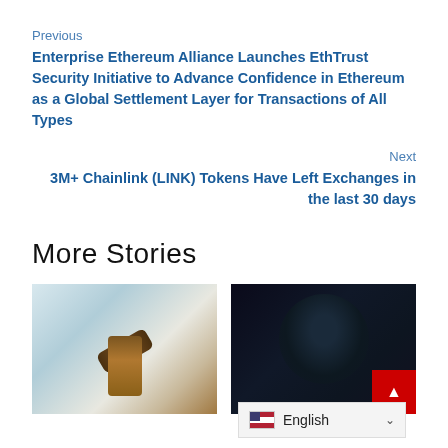Previous
Enterprise Ethereum Alliance Launches EthTrust Security Initiative to Advance Confidence in Ethereum as a Global Settlement Layer for Transactions of All Types
Next
3M+ Chainlink (LINK) Tokens Have Left Exchanges in the last 30 days
More Stories
[Figure (photo): Photo of a judge's gavel on a desk with a scale of justice in the background]
[Figure (photo): Dark image of a hooded hacker figure with digital code overlay and a red scroll-to-top button]